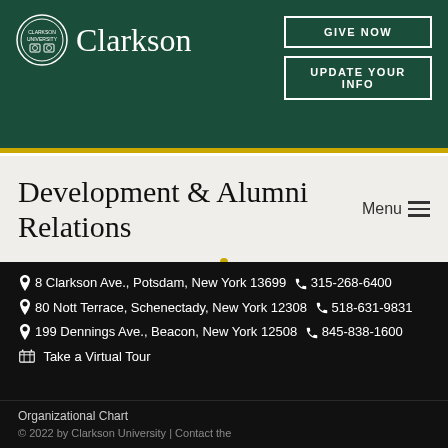Clarkson | GIVE NOW | UPDATE YOUR INFO
Development & Alumni Relations
📍8 Clarkson Ave., Potsdam, New York 13699 📞 315-268-6400
📍80 Nott Terrace, Schenectady, New York 12308 📞 518-631-9831
📍199 Dennings Ave., Beacon, New York 12508 📞 845-838-1600
🗺 Take a Virtual Tour
Organizational Chart
© 2022 by Clarkson University | Contact the